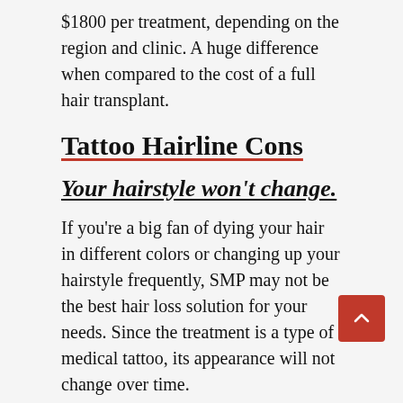$1800 per treatment, depending on the region and clinic. A huge difference when compared to the cost of a full hair transplant.
Tattoo Hairline Cons
Your hairstyle won't change.
If you're a big fan of dying your hair in different colors or changing up your hairstyle frequently, SMP may not be the best hair loss solution for your needs. Since the treatment is a type of medical tattoo, its appearance will not change over time.
Requires more than one